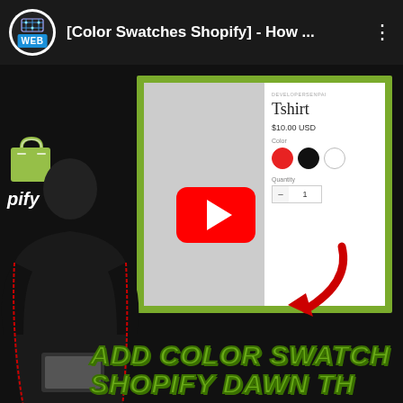[Color Swatches Shopify] - How ...
[Figure (screenshot): YouTube video thumbnail screenshot showing a Shopify product page with color swatches (red, black, white) for a Tshirt priced at $10.00 USD, overlaid with a YouTube play button, a red arrow pointing to the color swatches, a person in a black jacket, a Shopify logo, and bold green text reading 'ADD COLOR SWATCHES SHOPIFY DAWN TH' at the bottom.]